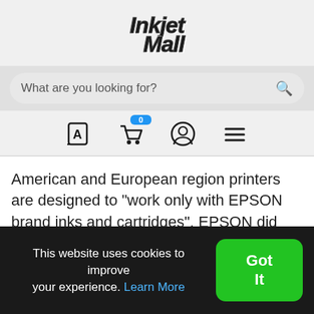[Figure (logo): InkjetMall logo in bold italic script font]
What are you looking for?
[Figure (infographic): Navigation icons: language/translate icon, shopping cart with badge '0', user account icon, hamburger menu icon]
American and European region printers are designed to "work only with EPSON brand inks and cartridges". EPSON did this by including a chip serial number recognition feature in the firmware of these printers. A chip serial number needs to be both bonafide and
This website uses cookies to improve your experience. Learn More